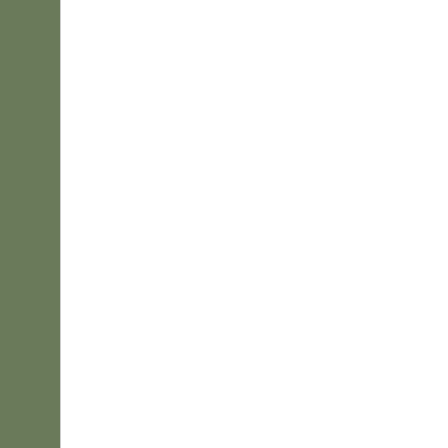[Figure (photo): Top portion of a photo showing a veggie garden at an Environmental Show, partially cropped. White background visible in the image box.]
Greg grows a full veggie garden at his Environmental Show
Greg runs a fruit tree program in Phoenix where you can buy trees and learn how to grow fruit in the harsh desert climate in Arizona. Stay tuned for more Phoenix garden vlogs! Turns out November is a great time to visit Phoenix! (Unlike June, when it was 115°! See my June Phoenix vlogs. Click here.
[Figure (photo): Bottom photo box, partially visible, showing a garden scene with green foliage.]